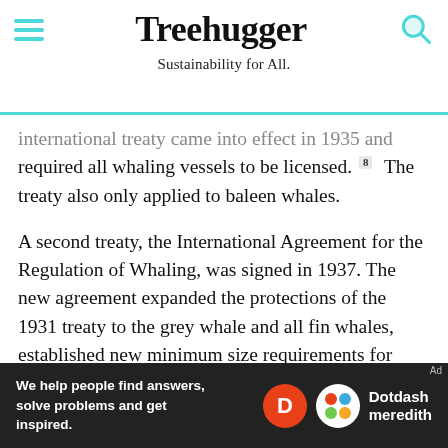Treehugger — Sustainability for All.
international treaty came into effect in 1935 and required all whaling vessels to be licensed.[8] The treaty also only applied to baleen whales.
A second treaty, the International Agreement for the Regulation of Whaling, was signed in 1937. The new agreement expanded the protections of the 1931 treaty to the grey whale and all fin whales, established new minimum size requirements for blue and fin whales, and enacted size requirements for humpback and sperm whales for the first time.[9] The agreement also enacted seasonal whaling restrictions and prohibited whaling across the entire Atlantic and Indian oceans north of a
[Figure (other): Advertisement banner: 'We help people find answers, solve problems and get inspired.' with Dotdash Meredith logo]